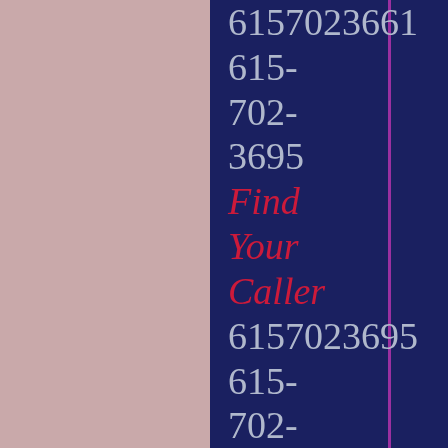6157023661
615-
702-
3695
Find
Your
Caller
6157023695
615-
702-
3634
Find
Your
Caller
6157023634
615-